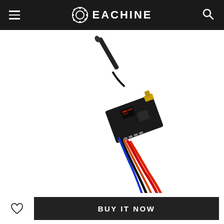EACHINE
[Figure (photo): Eachine FPV video transmitter circuit board with antenna and colored wires (red, black, blue, orange) on white background]
BUY IT NOW